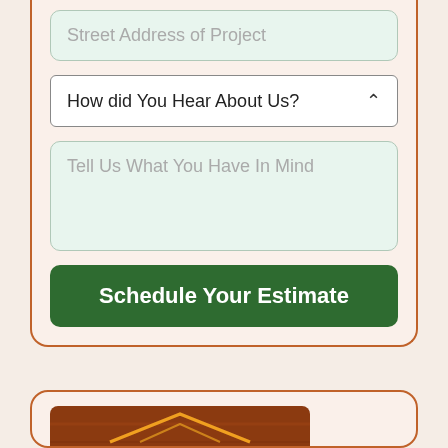Street Address of Project
How did You Hear About Us?
Tell Us What You Have In Mind
Schedule Your Estimate
[Figure (logo): WoodTeks logo — rectangular wood-grain panel with orange/gold text reading 'WoodTeks' and a roof/mountain outline above]